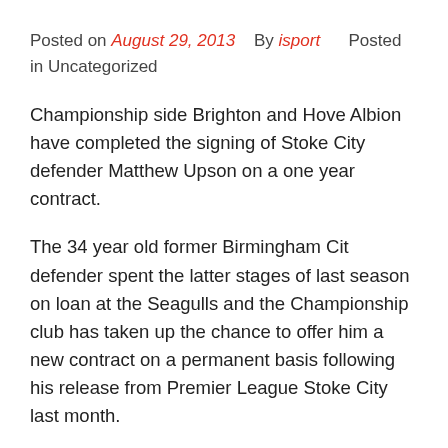Posted on August 29, 2013   By isport   Posted in Uncategorized
Championship side Brighton and Hove Albion have completed the signing of Stoke City defender Matthew Upson on a one year contract.
The 34 year old former Birmingham Cit defender spent the latter stages of last season on loan at the Seagulls and the Championship club has taken up the chance to offer him a new contract on a permanent basis following his release from Premier League Stoke City last month.
Upson was an immense success for the Amex Stadium side as he helped the club reach the playoff semi finals and also contributed to an air tight defense for the south coast side that conceded just 15 goals while he was